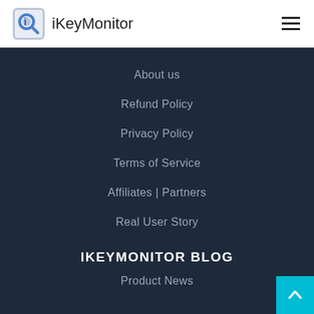iKeyMonitor
About us
Refund Policy
Privacy Policy
Terms of Service
Affiliates | Partners
Real User Story
IKEYMONITOR BLOG
Product News